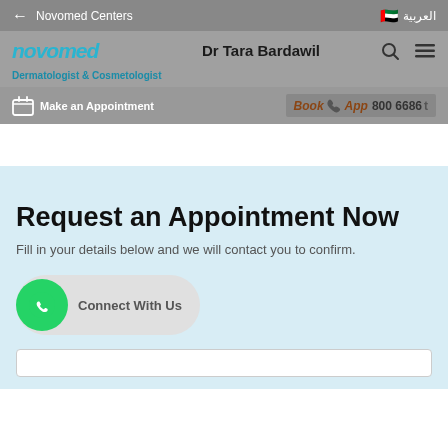← Novomed Centers    العربية 🇦🇪
Dr Tara Bardawil
[Figure (logo): Novomed logo with stylized text in teal/blue]
Dermatologist & Cosmetologist
Make an Appointment
Book App 800 6686 t
Request an Appointment Now
Fill in your details below and we will contact you to confirm.
Connect With Us